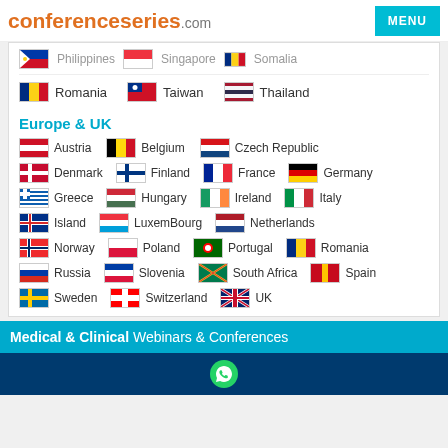conferenceseries.com
Philippines  Singapore  Romania  Taiwan  Thailand
Europe & UK
Austria  Belgium  Czech Republic  Denmark  Finland  France  Germany  Greece  Hungary  Ireland  Italy  Island  LuxemBourg  Netherlands  Norway  Poland  Portugal  Romania  Russia  Slovenia  South Africa  Spain  Sweden  Switzerland  UK
Medical & Clinical Webinars & Conferences